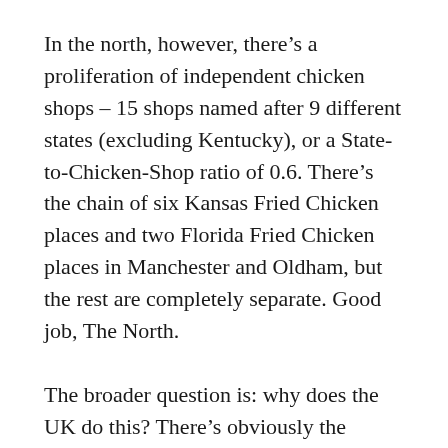In the north, however, there's a proliferation of independent chicken shops – 15 shops named after 9 different states (excluding Kentucky), or a State-to-Chicken-Shop ratio of 0.6. There's the chain of six Kansas Fried Chicken places and two Florida Fried Chicken places in Manchester and Oldham, but the rest are completely separate. Good job, The North.
The broader question is: why does the UK do this? There's obviously the copycat nature of it; chicken shops want to seem plausible, and sounding like a KFC (and looking